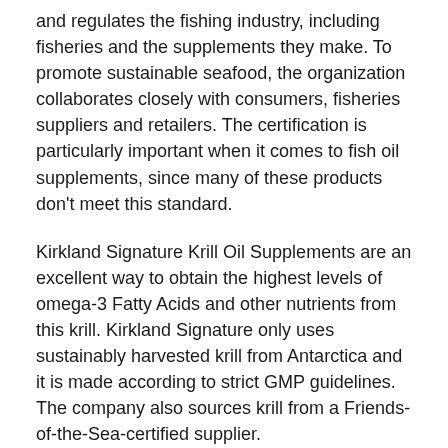and regulates the fishing industry, including fisheries and the supplements they make. To promote sustainable seafood, the organization collaborates closely with consumers, fisheries suppliers and retailers. The certification is particularly important when it comes to fish oil supplements, since many of these products don't meet this standard.
Kirkland Signature Krill Oil Supplements are an excellent way to obtain the highest levels of omega-3 Fatty Acids and other nutrients from this krill. Kirkland Signature only uses sustainably harvested krill from Antarctica and it is made according to strict GMP guidelines. The company also sources krill from a Friends-of-the-Sea-certified supplier.